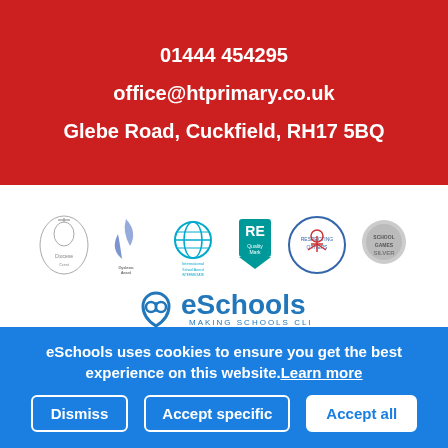01444 454295
office@htprimary.co.uk
Glebe Road, Cuckfield, RH17 5BQ
[Figure (logo): Row of school award logos: diocese crest, Dyslexia Award, International School Award Intermediate, RE Quality Mark, Respecting Others award, School Games Silver; below them the eSchools logo with text MAKING SCHOOLS CLICK]
eSchools uses cookies. View our privacy and cookies policy
eSchools uses cookies to ensure you get the best experience on this website. Learn more
Dismiss   Accept specific   Accept all